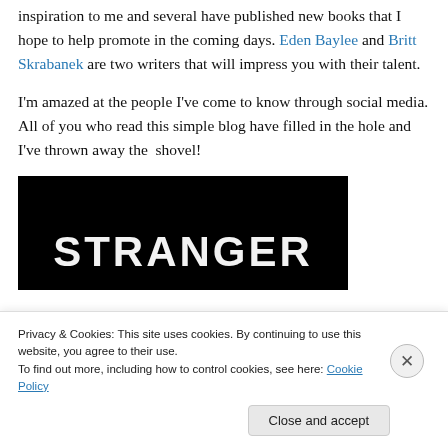inspiration to me and several have published new books that I hope to help promote in the coming days. Eden Baylee and Britt Skrabanek are two writers that will impress you with their talent.
I'm amazed at the people I've come to know through social media. All of you who read this simple blog have filled in the hole and I've thrown away the  shovel!
[Figure (photo): Book cover image with dark/black background and large white bold text reading 'STRANGER']
Privacy & Cookies: This site uses cookies. By continuing to use this website, you agree to their use.
To find out more, including how to control cookies, see here: Cookie Policy